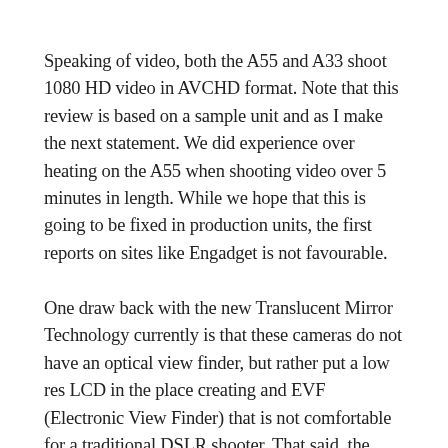Speaking of video, both the A55 and A33 shoot 1080 HD video in AVCHD format. Note that this review is based on a sample unit and as I make the next statement. We did experience over heating on the A55 when shooting video over 5 minutes in length. While we hope that this is going to be fixed in production units, the first reports on sites like Engadget is not favourable.
One draw back with the new Translucent Mirror Technology currently is that these cameras do not have an optical view finder, but rather put a low res LCD in the place creating and EVF (Electronic View Finder) that is not comfortable for a traditional DSLR shooter. That said, the Live View is so good that I seldom use the EVF opting